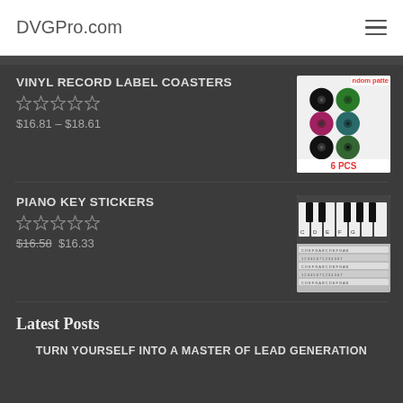DVGPro.com
VINYL RECORD LABEL COASTERS
$16.81 – $18.61
[Figure (photo): Product image of vinyl record label coasters showing 6 colorful vinyl record coasters. Text says 'ndom patte' and '6 PCS' in red.]
PIANO KEY STICKERS
$16.58  $16.33
[Figure (photo): Product image of piano key stickers showing piano keys with note stickers applied.]
Latest Posts
TURN YOURSELF INTO A MASTER OF LEAD GENERATION